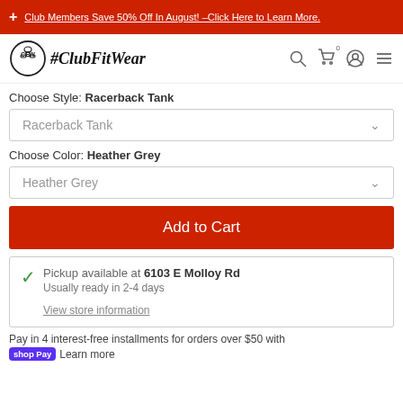+ Club Members Save 50% Off In August! –Click Here to Learn More.
[Figure (logo): ClubFitWear logo with kettlebell icon and #ClubFitWear brand name, plus navigation icons for search, cart, account, and menu]
Choose Style: Racerback Tank
Racerback Tank
Choose Color: Heather Grey
Heather Grey
Add to Cart
Pickup available at 6103 E Molloy Rd
Usually ready in 2-4 days
View store information
Pay in 4 interest-free installments for orders over $50 with Shop Pay Learn more